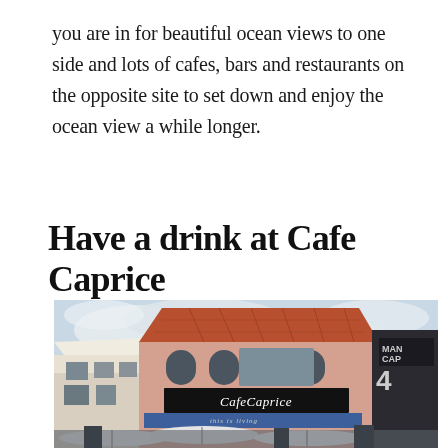you are in for beautiful ocean views to one side and lots of cafes, bars and restaurants on the opposite site to set down and enjoy the ocean view a while longer.
Have a drink at Cafe Caprice
[Figure (photo): Exterior photo of Cafe Caprice restaurant building — a pink two-storey building with a terracotta tiled roof, arched windows on the upper floor, a black sign reading 'CafeCaprice' and 'this is living' on the awning, with white parasols/umbrellas visible in the foreground and a neighbouring dark building on the right showing partial text 'MAN CAP' and the number '4'.]